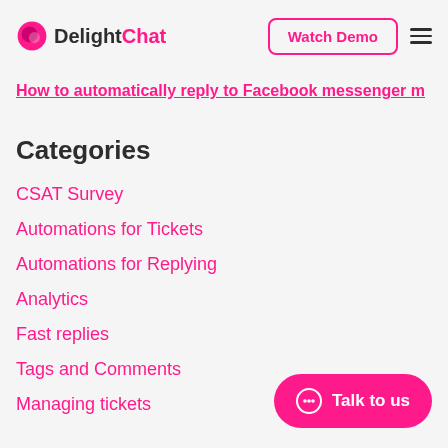DelightChat | Watch Demo
How to automatically reply to Facebook messenger m…
Categories
CSAT Survey
Automations for Tickets
Automations for Replying
Analytics
Fast replies
Tags and Comments
Managing tickets